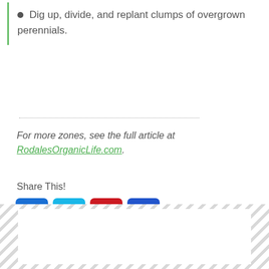Dig up, divide, and replant clumps of overgrown perennials.
For more zones, see the full article at RodalesOrganicLife.com.
Share This!
[Figure (other): Social sharing buttons: Facebook (blue), Twitter (light blue), Pinterest (red), and a plus/more button (blue)]
[Figure (other): Striped placeholder box at the bottom of the page, likely an advertisement or content placeholder area]